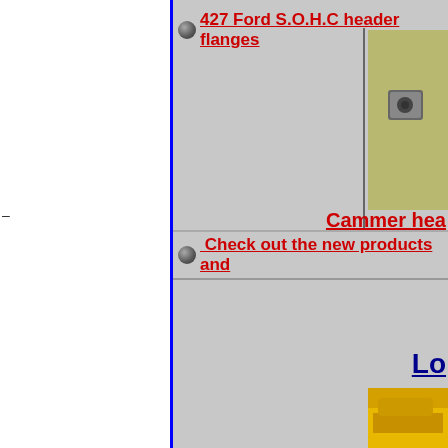427 Ford S.O.H.C header flanges
[Figure (photo): Partial photo of a metal cammer header flange component]
Cammer hea...
Check out the new products and
Lo...
[Figure (photo): Partial photo of a yellow car]